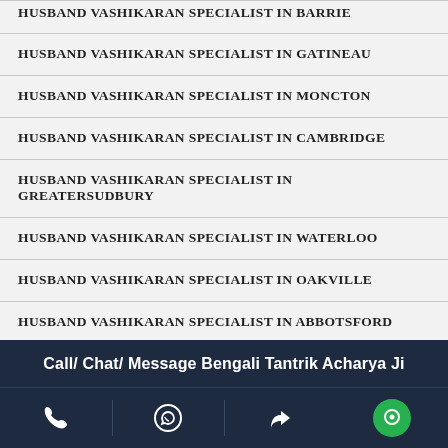HUSBAND VASHIKARAN SPECIALIST IN BARRIE
HUSBAND VASHIKARAN SPECIALIST IN GATINEAU
HUSBAND VASHIKARAN SPECIALIST IN MONCTON
HUSBAND VASHIKARAN SPECIALIST IN CAMBRIDGE
HUSBAND VASHIKARAN SPECIALIST IN GREATERSUDBURY
HUSBAND VASHIKARAN SPECIALIST IN WATERLOO
HUSBAND VASHIKARAN SPECIALIST IN OAKVILLE
HUSBAND VASHIKARAN SPECIALIST IN ABBOTSFORD
HUSBAND VASHIKARAN SPECIALIST IN VAUGHAN
HUSBAND VASHIKARAN SPECIALIST IN BRAMPTON
Call/ Chat/ Message Bengali Tantrik Acharya Ji